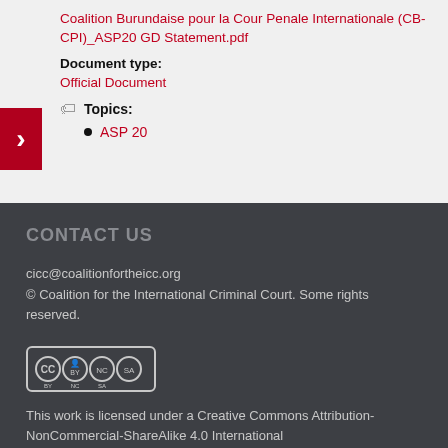Coalition Burundaise pour la Cour Penale Internationale (CB-CPI)_ASP20 GD Statement.pdf
Document type:
Official Document
Topics:
ASP 20
CONTACT US
cicc@coalitionfortheicc.org
© Coalition for the International Criminal Court. Some rights reserved.
[Figure (logo): Creative Commons BY NC SA license badge]
This work is licensed under a Creative Commons Attribution-NonCommercial-ShareAlike 4.0 International